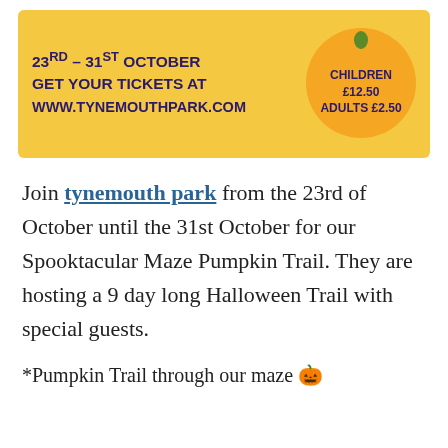[Figure (infographic): Yellow banner advertising Pumpkin Trail event at Tynemouth Park. Left side shows dates '23RD – 31ST OCTOBER', 'GET YOUR TICKETS AT', 'WWW.TYNEMOUTHPARK.COM' in dark purple bold text. Right side shows an orange circle with 'CHILDREN £12.50 ADULTS £2.50' text.]
Join tynemouth park from the 23rd of October until the 31st October for our Spooktacular Maze Pumpkin Trail. They are hosting a 9 day long Halloween Trail with special guests.
*Pumpkin Trail through our maze 🎃